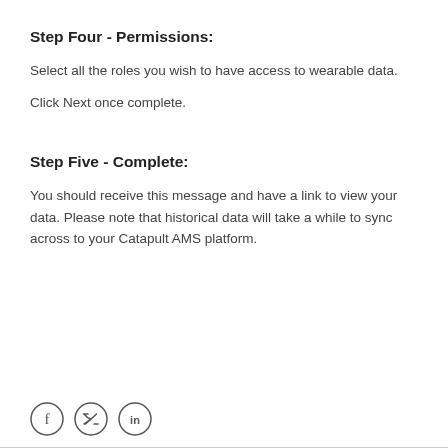Step Four - Permissions:
Select all the roles you wish to have access to wearable data.
Click Next once complete.
Step Five - Complete:
You should receive this message and have a link to view your data. Please note that historical data will take a while to sync across to your Catapult AMS platform.
[Figure (illustration): Three social media icons in circles: Facebook (f), Twitter/X (bird), LinkedIn (in)]